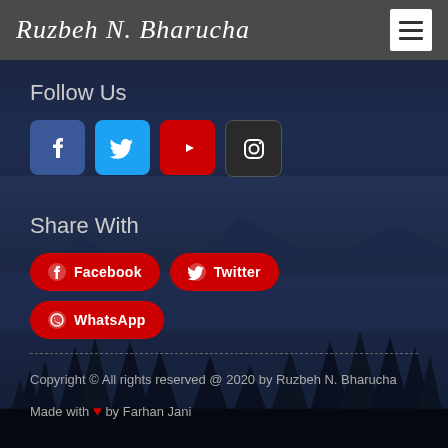Ruzbeh N. Bharucha
Follow Us
[Figure (infographic): Four social media icon buttons: Facebook (blue), Twitter (light blue), YouTube (red), Instagram (dark)]
Share With
[Figure (infographic): Three share buttons in red: Facebook, Twitter, WhatsApp]
Copyright © All rights reserved @ 2020 by Ruzbeh N. Bharucha
Made with ♥ by Farhan Jani